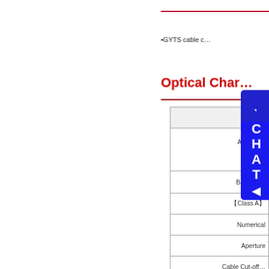•GYTS cable c…
Optical Char…
|  |
| --- |
| Attenua… |
| (+20°C) |
| Bandwidth |
| 【Class A】 |
| Numerical |
| Aperture |
| Cable Cut-off… |